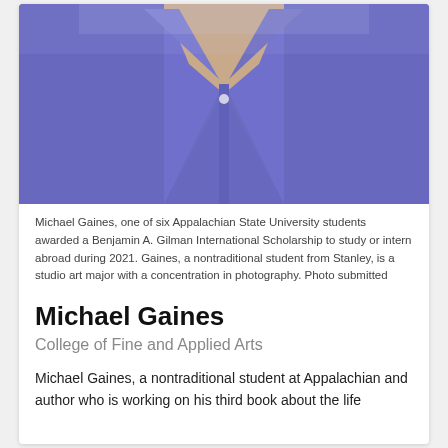[Figure (photo): Close-up photo of Michael Gaines wearing a purple/blue polo shirt, showing his neck and chest area. The collar of the shirt is visible. Photo is cropped to show only the torso and lower neck.]
Michael Gaines, one of six Appalachian State University students awarded a Benjamin A. Gilman International Scholarship to study or intern abroad during 2021. Gaines, a nontraditional student from Stanley, is a studio art major with a concentration in photography. Photo submitted
Michael Gaines
College of Fine and Applied Arts
Michael Gaines, a nontraditional student at Appalachian and author who is working on his third book about the life